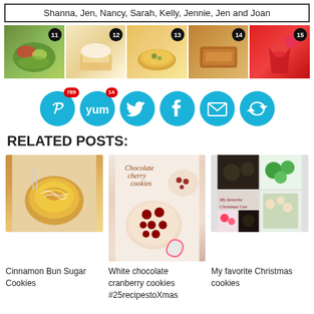Shanna, Jen, Nancy, Sarah, Kelly, Jennie, Jen and Joan
[Figure (photo): Photo strip with 5 food photos numbered 11-15]
[Figure (infographic): Social share buttons: Pinterest 789, Yum 14, Twitter, Facebook, Email, Recycle/Share]
RELATED POSTS:
[Figure (photo): Cinnamon Bun Sugar Cookies photo]
Cinnamon Bun Sugar Cookies
[Figure (photo): White chocolate cranberry cookies photo]
White chocolate cranberry cookies #25recipestoXmas
[Figure (photo): My favorite Christmas cookies collage]
My favorite Christmas cookies